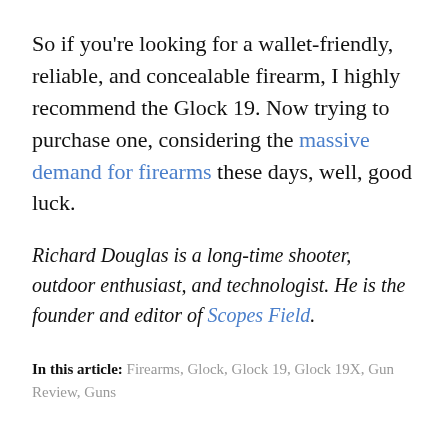So if you're looking for a wallet-friendly, reliable, and concealable firearm, I highly recommend the Glock 19. Now trying to purchase one, considering the massive demand for firearms these days, well, good luck.
Richard Douglas is a long-time shooter, outdoor enthusiast, and technologist. He is the founder and editor of Scopes Field.
In this article: Firearms, Glock, Glock 19, Glock 19X, Gun Review, Guns